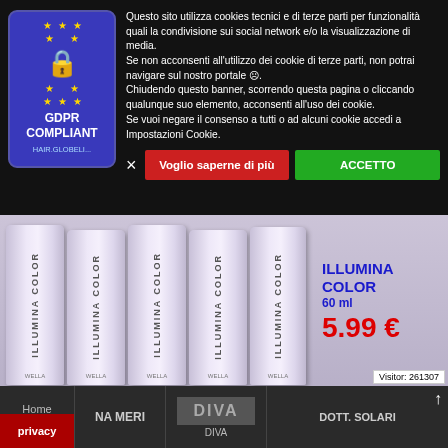Questo sito utilizza cookies tecnici e di terze parti per funzionalità quali la condivisione sui social network e/o la visualizzazione di media. Se non acconsenti all'utilizzo dei cookie di terze parti, non potrai navigare sul nostro portale ☹. Chiudendo questo banner, scorrendo questa pagina o cliccando qualunque suo elemento, acconsenti all'uso dei cookie. Se vuoi negare il consenso a tutti o ad alcuni cookie accedi a Impostazioni Cookie.
Voglio saperne di più
ACCETTO
[Figure (photo): Five Wella Illumina Color 60ml product tubes displayed vertically in a row on a light purple/grey background]
ILLUMINA COLOR 60 ml 5.99 €
Visitor: 261307
Home Page
NA MERI
DIVA
DOTT. SOLARI
privacy